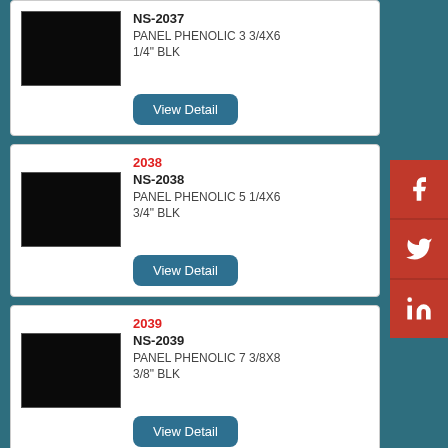[Figure (photo): Black phenolic panel product image for NS-2037]
NS-2037
PANEL PHENOLIC 3 3/4X6 1/4" BLK
View Detail
2038
[Figure (photo): Black phenolic panel product image for NS-2038]
NS-2038
PANEL PHENOLIC 5 1/4X6 3/4" BLK
View Detail
2039
[Figure (photo): Black phenolic panel product image for NS-2039]
NS-2039
PANEL PHENOLIC 7 3/8X8 3/8" BLK
View Detail